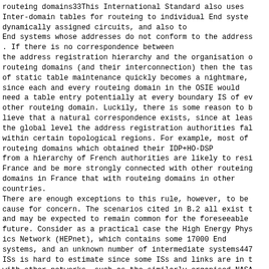routeing domains33This International Standard also uses Inter-domain tables for routeing to individual End systems dynamically assigned circuits, and also to End systems whose addresses do not conform to the address. If there is no correspondence between the address registration hierarchy and the organisation of routeing domains (and their interconnection) then the task of static table maintenance quickly becomes a nightmare, since each and every routeing domain in the OSIE would need a table entry potentially at every boundary IS of every other routeing domain. Luckily, there is some reason to believe that a natural correspondence exists, since at least the global level the address registration authorities fall within certain topological regions. For example, most of routeing domains which obtained their IDP+HO-DSP from a hierarchy of French authorities are likely to reside in France and be more strongly connected with other routeing domains in France that with routeing domains in other countries.
There are enough exceptions to this rule, however, to be a cause for concern. The scenarios cited in B.2 all exist and may be expected to remain common for the foreseeable future. Consider as a practical case the High Energy Physics Network (HEPnet), which contains some 17000 End systems, and an unknown number of intermediate systems447 ISs is hard to estimate since some ISs and links are in common with other networks, such as the similarly organised NASA Physics network, or SPAN.
.
This network operates as a single routeing domain in order